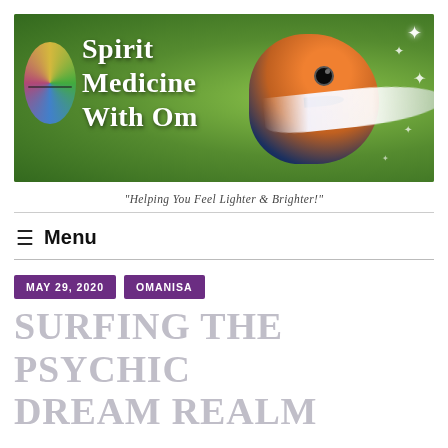[Figure (illustration): Banner image for 'Spirit Medicine with Om' website. Shows a close-up of a colorful bird (bluebird/swallow) with an orange and blue head holding a white feather in its beak, against a green background with sparkle effects. An Om symbol circle logo is on the left side. White serif text reads 'Spirit Medicine with Om'.]
"Helping You Feel Lighter & Brighter!"
≡ Menu
MAY 29, 2020
OMANISA
Surfing the Psychic Dream Realm